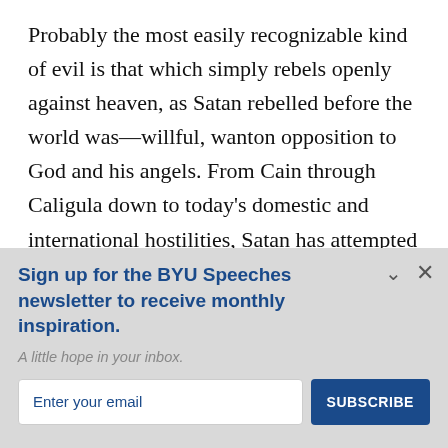Probably the most easily recognizable kind of evil is that which simply rebels openly against heaven, as Satan rebelled before the world was—willful, wanton opposition to God and his angels. From Cain through Caligula down to today's domestic and international hostilities, Satan has attempted to lure children of promise into violent, destructive
Sign up for the BYU Speeches newsletter to receive monthly inspiration.
A little hope in your inbox.
Enter your email
SUBSCRIBE